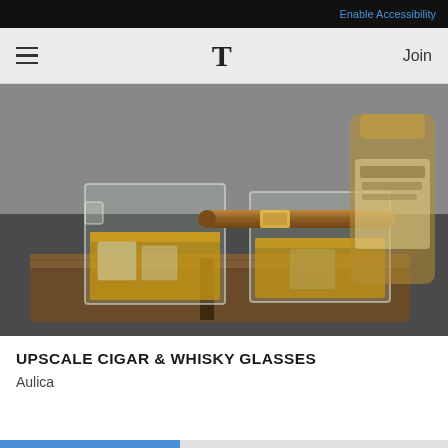Enable Accessibility
T   Join
[Figure (photo): Two square whisky glasses filled with amber liquid and ice, resting on a wooden tray/board. A cigar rests across one of the glasses. A whisky bottle is visible in the background (slightly blurred). Dark tabletop surface.]
UPSCALE CIGAR & WHISKY GLASSES
Aulica